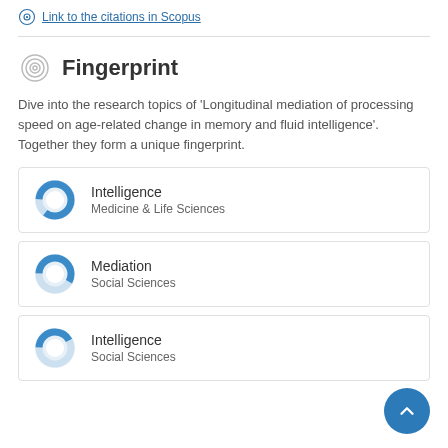Link to the citations in Scopus
Fingerprint
Dive into the research topics of 'Longitudinal mediation of processing speed on age-related change in memory and fluid intelligence'. Together they form a unique fingerprint.
Intelligence
Medicine & Life Sciences
Mediation
Social Sciences
Intelligence
Social Sciences